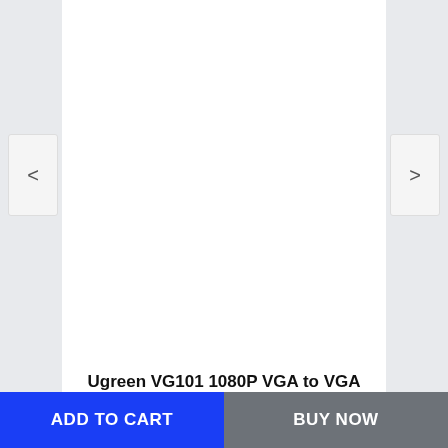Ugreen VG101 1080P VGA to VGA Cable Male to Male Shielding Video Cable for HDTV PC 25M
< (left navigation arrow)
> (right navigation arrow)
Ugreen VG101 1080P VGA to VGA Cable Male...
$ 240.55  $ 245.46
[Figure (other): Two partially visible product image thumbnails showing 'Male to' text]
Download app now
ADD TO CART
BUY NOW